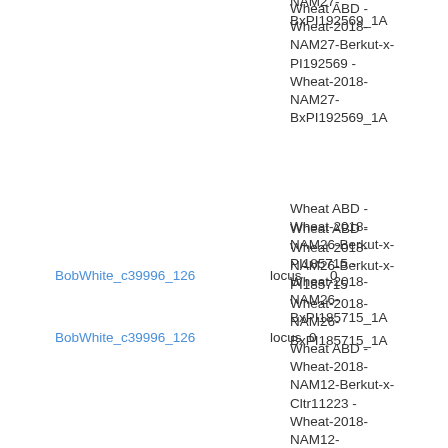Wheat ABD - Wheat-2018-NAM27-Berkut-x-PI192569 - Wheat-2018-NAM27-BxPI192569_1A
BobWhite_c39996_126 locus 0
Wheat ABD - Wheat-2018-NAM26-Berkut-x-PI185715 - Wheat-2018-NAM26-BxPI185715_1A
Wheat ABD - Wheat-2018-NAM12-Berkut-x-Cltr11223 - Wheat-2018-NAM12-BxCltr11223_1A
Wheat ABD - Wheat-2018-NAM13-Berkut-x-PI262611 - Wheat-2018-NAM13-BxPI262611_1A